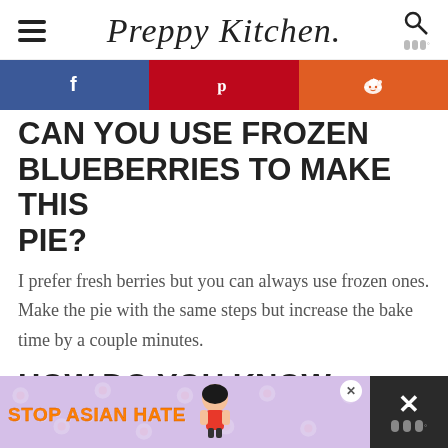Preppy Kitchen
CAN YOU USE FROZEN BLUEBERRIES TO MAKE THIS PIE?
I prefer fresh berries but you can always use frozen ones. Make the pie with the same steps but increase the bake time by a couple minutes.
HOW DO YOU KNOW WHEN THE PIE IS DONE?
[Figure (other): Stop Asian Hate advertisement banner at the bottom of the page with a cartoon character and floral background]